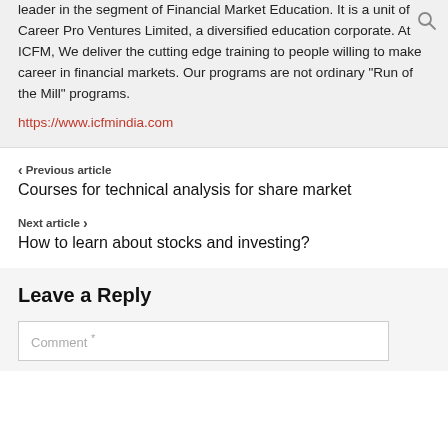leader in the segment of Financial Market Education. It is a unit of Career Pro Ventures Limited, a diversified education corporate. At ICFM, We deliver the cutting edge training to people willing to make career in financial markets. Our programs are not ordinary "Run of the Mill" programs.
https://www.icfmindia.com
< Previous article
Courses for technical analysis for share market
Next article >
How to learn about stocks and investing?
Leave a Reply
Comment *